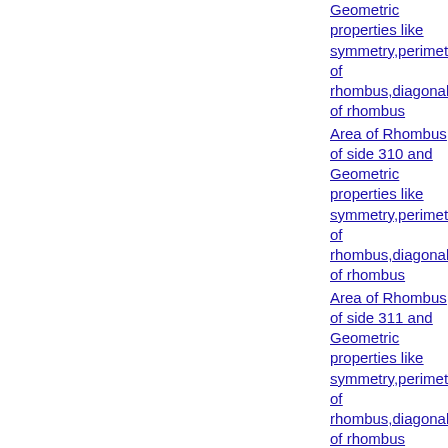Geometric properties like symmetry,perimeter of rhombus,diagonals of rhombus
Area of Rhombus of side 310 and Geometric properties like symmetry,perimeter of rhombus,diagonals of rhombus
Area of Rhombus of side 311 and Geometric properties like symmetry,perimeter of rhombus,diagonals of rhombus
Area of Rhombus of